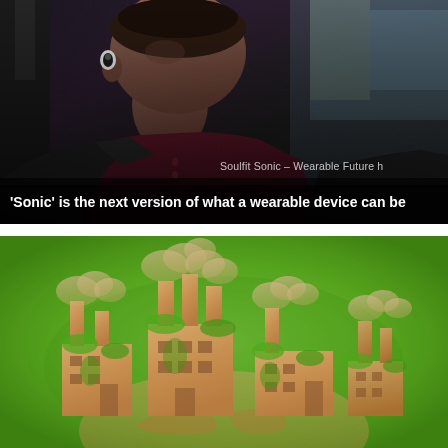[Figure (photo): Young man wearing a wireless earpiece/earbud in his left ear, seated in a car, wearing a dark blazer over a burgundy shirt, looking to the side. The photo has a semi-transparent watermark reading 'Soulfit Sonic – Wearable Future h' in the lower right area.]
'Sonic' is the next version of what a wearable device can be
[Figure (illustration): Green ecology concept illustration showing a cardboard/paper cutout of industrial factory buildings with smokestacks, covered in green ivy/moss, set against a bright green grass background. The factory sits atop a partial globe shape showing Africa/Earth silhouette, representing sustainable industry or green manufacturing.]